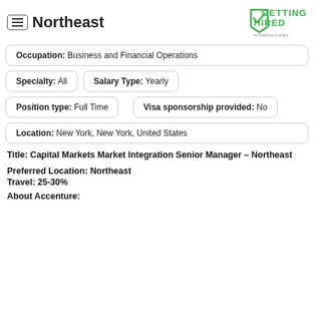Northeast — Getting Hired (An AlligiGroup Company)
Occupation: Business and Financial Operations
Specialty: All   Salary Type: Yearly
Position type: Full Time
Visa sponsorship provided: No
Location: New York, New York, United States
Title: Capital Markets Market Integration Senior Manager – Northeast
Preferred Location: Northeast
Travel: 25-30%
About Accenture: